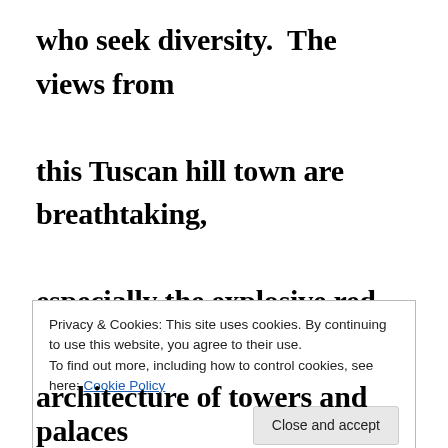who seek diversity.  The views from this Tuscan hill town are breathtaking, especially the explosive red sunsets. In town, the Piazza della Cisterna and it's connecting Piazza del Popolo are
Privacy & Cookies: This site uses cookies. By continuing to use this website, you agree to their use.
To find out more, including how to control cookies, see here: Cookie Policy
[Close and accept]
architecture of towers and palaces